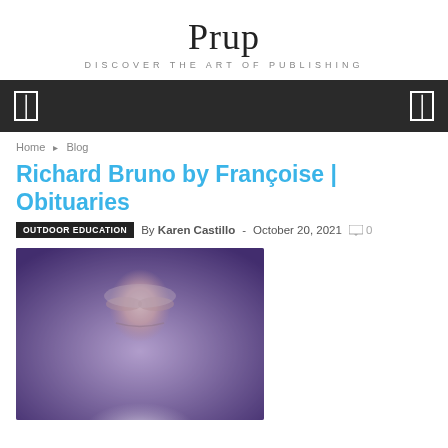Prup
DISCOVER THE ART OF PUBLISHING
Home / Blog
Richard Bruno by Françoise | Obituaries
OUTDOOR EDUCATION   By Karen Castillo - October 20, 2021   0
[Figure (photo): Portrait photograph of an elderly man with thinning hair wearing a white shirt, with a purple/blue tint overlay]